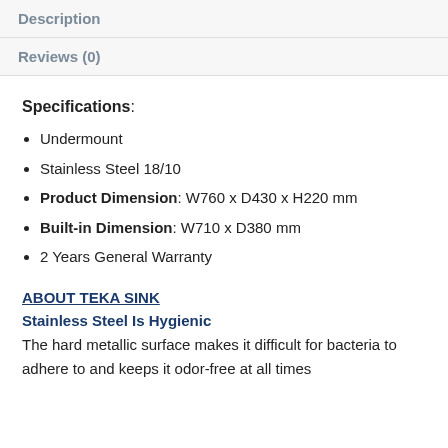Description
Reviews (0)
Specifications:
Undermount
Stainless Steel 18/10
Product Dimension: W760 x D430 x H220 mm
Built-in Dimension: W710 x D380 mm
2 Years General Warranty
ABOUT TEKA SINK
Stainless Steel Is Hygienic
The hard metallic surface makes it difficult for bacteria to adhere to and keeps it odor-free at all times